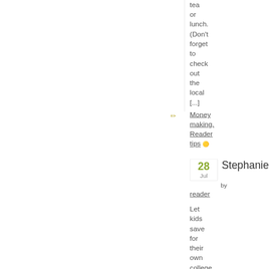tea or lunch. (Don't forget to check out the local [...]
[Figure (illustration): Small pencil/edit icon]
Money making. Reader tips 🟡
28 Jul
Stephanie.
by reader
Let kids save for their own college